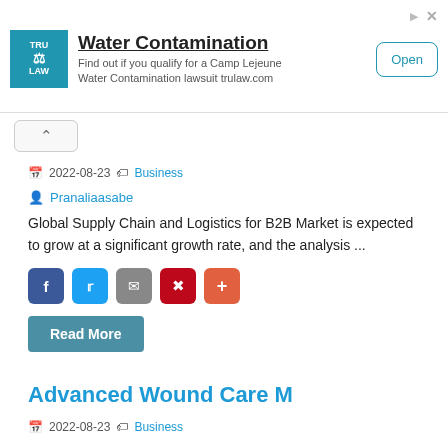[Figure (screenshot): Advertisement banner for TruLaw Water Contamination lawsuit with logo, text, and Open button]
2022-08-23  Business
Pranaliaasabe
Global Supply Chain and Logistics for B2B Market is expected to grow at a significant growth rate, and the analysis ...
[Figure (other): Social share buttons: Facebook, Twitter, Email, Pinterest, Plus]
Read More
Advanced Wound Care M
2022-08-23  Business